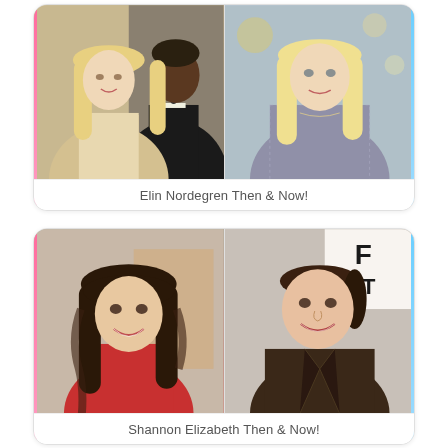[Figure (photo): Two-photo collage: left photo shows a blonde woman and a man in a tuxedo; right photo shows a blonde woman in a lace dress. Caption: Elin Nordegren Then & Now!]
Elin Nordegren Then & Now!
[Figure (photo): Two-photo collage: left photo shows a brunette woman with long wavy hair in a red top; right photo shows the same woman with shorter hair in a brown leather jacket. Caption: Shannon Elizabeth Then & Now!]
Shannon Elizabeth Then & Now!